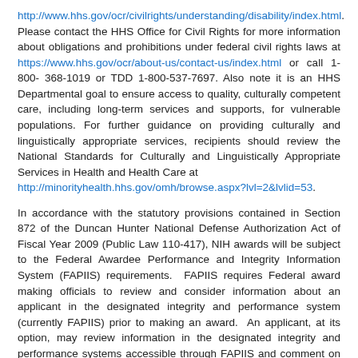http://www.hhs.gov/ocr/civilrights/understanding/disability/index.html. Please contact the HHS Office for Civil Rights for more information about obligations and prohibitions under federal civil rights laws at https://www.hhs.gov/ocr/about-us/contact-us/index.html or call 1-800-368-1019 or TDD 1-800-537-7697. Also note it is an HHS Departmental goal to ensure access to quality, culturally competent care, including long-term services and supports, for vulnerable populations. For further guidance on providing culturally and linguistically appropriate services, recipients should review the National Standards for Culturally and Linguistically Appropriate Services in Health and Health Care at http://minorityhealth.hhs.gov/omh/browse.aspx?lvl=2&lvlid=53.
In accordance with the statutory provisions contained in Section 872 of the Duncan Hunter National Defense Authorization Act of Fiscal Year 2009 (Public Law 110-417), NIH awards will be subject to the Federal Awardee Performance and Integrity Information System (FAPIIS) requirements.  FAPIIS requires Federal award making officials to review and consider information about an applicant in the designated integrity and performance system (currently FAPIIS) prior to making an award.  An applicant, at its option, may review information in the designated integrity and performance systems accessible through FAPIIS and comment on any information about itself that a Federal agency previously entered and is currently in